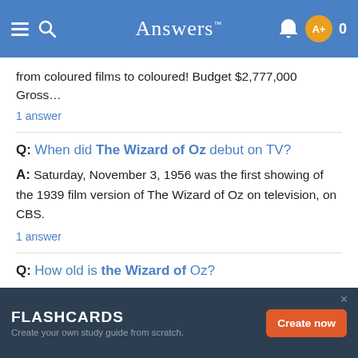Answers
from coloured films to coloured! Budget $2,777,000 Gross...
1 answer
Q: When did The Wizard of Oz debut on TV?
A: Saturday, November 3, 1956 was the first showing of the 1939 film version of The Wizard of Oz on television, on CBS.
1 answer
Q: How old is the Wizard of Oz?
FLASHCARDS Create your own study guide from scratch. Create now